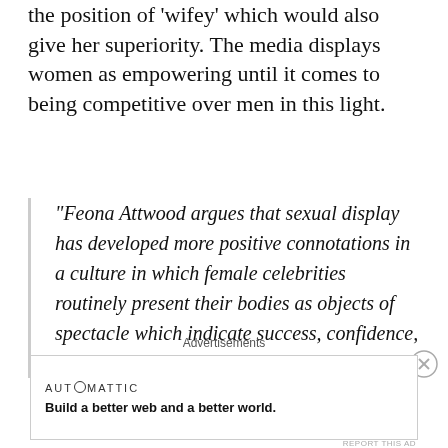the position of 'wifey' which would also give her superiority. The media displays women as empowering until it comes to being competitive over men in this light.
“Feona Attwood argues that sexual display has developed more positive connotations in a culture in which female celebrities routinely present their bodies as objects of spectacle which indicate success, confidence, assertive female sexuality and power.”
Advertisements
[Figure (other): Advertisement box with Automattic branding and tagline: Build a better web and a better world.]